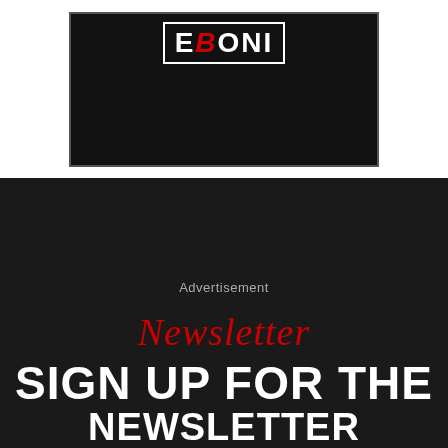[Figure (logo): EBONI logo in white block letters with red stylized B, white border, on black background]
Advertisement
Newsletter
SIGN UP FOR THE